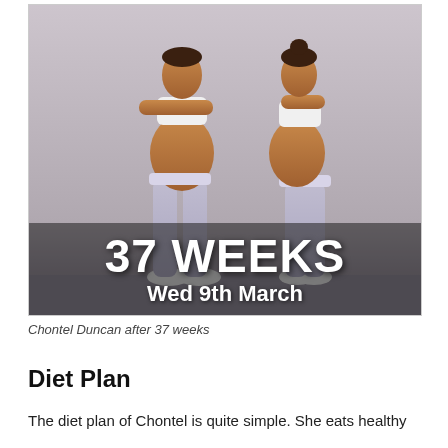[Figure (photo): Two-panel photo of Chontel Duncan at 37 weeks pregnant — front view showing bare pregnant belly on the left, and side profile view on the right. Both shots show her wearing white sports bra and lavender/grey leggings. Overlaid text reads '37 WEEKS' and 'Wed 9th March'.]
Chontel Duncan after 37 weeks
Diet Plan
The diet plan of Chontel is quite simple. She eats healthy